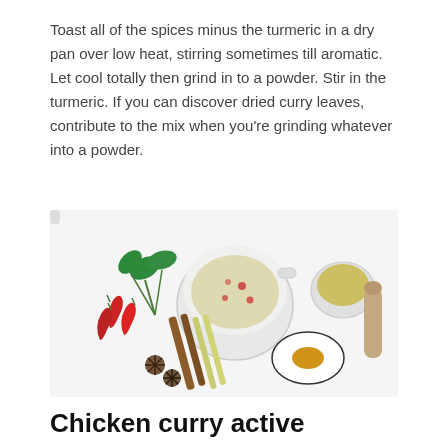Toast all of the spices minus the turmeric in a dry pan over low heat, stirring sometimes till aromatic. Let cool totally then grind in to a powder. Stir in the turmeric. If you can discover dried curry leaves, contribute to the mix when you're grinding whatever into a powder.
[Figure (photo): Overhead flat-lay photo of curry spices and ingredients on a white surface: green curry leaves, red chili peppers, a mortar with ground spice mix, a small bowl of yellow turmeric powder, a small cup of green-yellow spice blend, cinnamon sticks, lemongrass stalks, star anise, and a wooden pestle.]
Chicken curry active